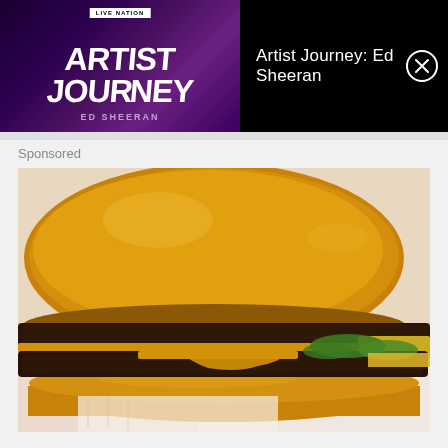[Figure (other): Artist Journey: Ed Sheeran advertisement banner with dark purple/black background. Left side shows the 'Artist Journey' logo with Live Nation badge and 'ED SHEERAN' text. Right side shows the text 'Artist Journey: Ed Sheeran' with a close (X) button.]
Sponsored
[Figure (photo): Close-up photograph of a double cheeseburger on white deli paper. The burger has a large golden-brown bun, two beef patties, melted yellow cheese, pickles visible on the right side, and appears to be a fast-food style burger.]